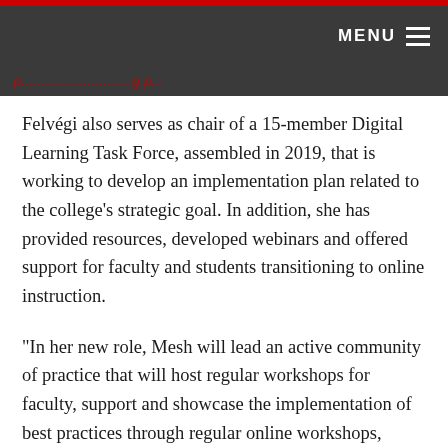MENU
Felvégi also serves as chair of a 15-member Digital Learning Task Force, assembled in 2019, that is working to develop an implementation plan related to the college's strategic goal. In addition, she has provided resources, developed webinars and offered support for faculty and students transitioning to online instruction.
“In her new role, Mesh will lead an active community of practice that will host regular workshops for faculty, support and showcase the implementation of best practices through regular online workshops, virtual workspace and a resource website, host regular workshops for students, and direct a team of student workers to assist faculty when teaching online,” Pavlou said.